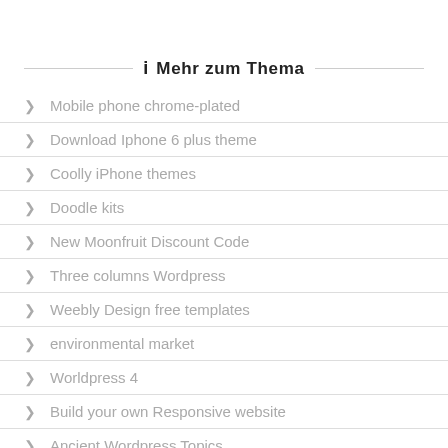Mehr zum Thema
Mobile phone chrome-plated
Download Iphone 6 plus theme
Coolly iPhone themes
Doodle kits
New Moonfruit Discount Code
Three columns Wordpress
Weebly Design free templates
environmental market
Worldpress 4
Build your own Responsive website
Ancient Wordpress Topics